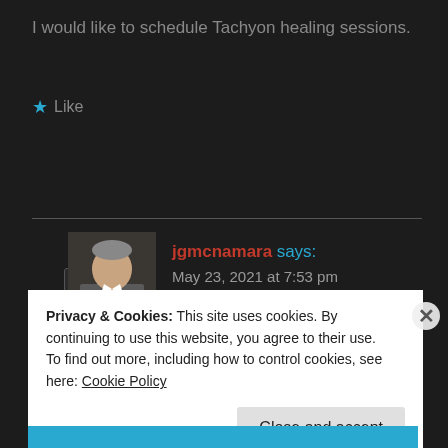I would like to schedule Tachyon healing sessions.
★ Like
Reply
jgmcnamara says:
May 23, 2021 at 7:53 pm
Please call (540)221-2794.
Privacy & Cookies: This site uses cookies. By continuing to use this website, you agree to their use.
To find out more, including how to control cookies, see here: Cookie Policy
Close and accept